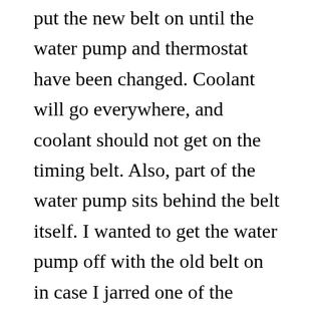put the new belt on until the water pump and thermostat have been changed. Coolant will go everywhere, and coolant should not get on the timing belt. Also, part of the water pump sits behind the belt itself. I wanted to get the water pump off with the old belt on in case I jarred one of the camshaft gears but it's just not possible. Nothing bad happened though so that's good, and now I have a new water pump! Hooray. After this, I put the crankshaft pulley bolt in so I could turn the engine over a few times with the breaker bar to listen to